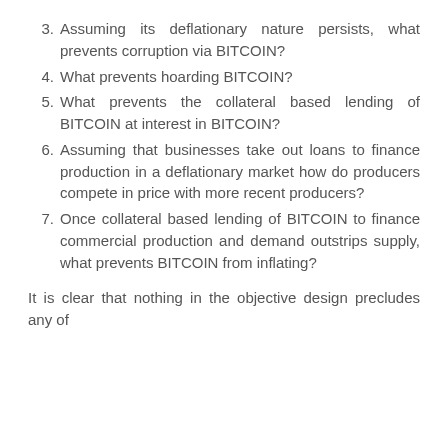3. Assuming its deflationary nature persists, what prevents corruption via BITCOIN?
4. What prevents hoarding BITCOIN?
5. What prevents the collateral based lending of BITCOIN at interest in BITCOIN?
6. Assuming that businesses take out loans to finance production in a deflationary market how do producers compete in price with more recent producers?
7. Once collateral based lending of BITCOIN to finance commercial production and demand outstrips supply, what prevents BITCOIN from inflating?
It is clear that nothing in the objective design precludes any of